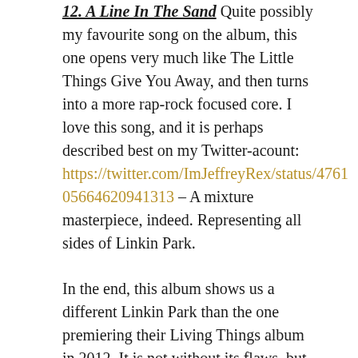12. A Line In The Sand Quite possibly my favourite song on the album, this one opens very much like The Little Things Give You Away, and then turns into a more rap-rock focused core. I love this song, and it is perhaps described best on my Twitter-acount: https://twitter.com/ImJeffreyRex/status/47610566462094​1313 – A mixture masterpiece, indeed. Representing all sides of Linkin Park.
In the end, this album shows us a different Linkin Park than the one premiering their Living Things album in 2012. It is not without its flaws, but stands as a brief return to old material, as well as a representation of the proposed resurrection of Heavy Metal in Rock. The album does not top